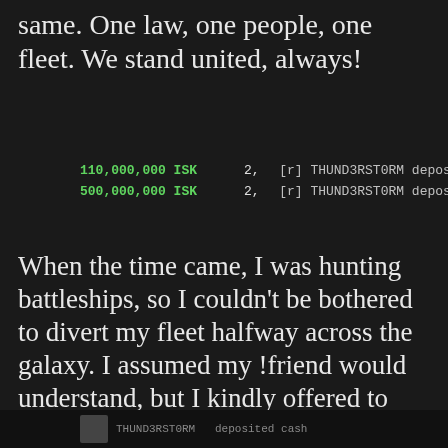same. One law, one people, one fleet. We stand united, always!
110,000,000 ISK  2,  [r] THUND3RST0RM deposited cash
500,000,000 ISK  2,  [r] THUND3RST0RM deposited cash
When the time came, I was hunting battleships, so I couldn't be bothered to divert my fleet halfway across the galaxy. I assumed my !friend would understand, but I kindly offered to lead his fleet via private convo. I wouldn't want them to be demoralized, so I didn't inform him the cavalry was never coming.